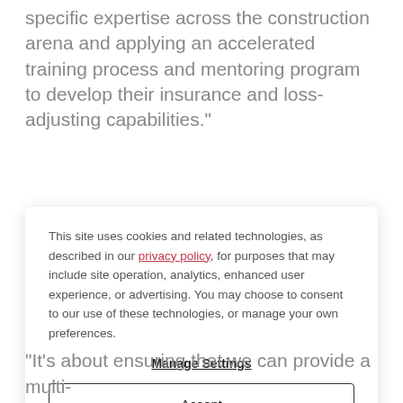specific expertise across the construction arena and applying an accelerated training process and mentoring program to develop their insurance and loss-adjusting capabilities."
This site uses cookies and related technologies, as described in our privacy policy, for purposes that may include site operation, analytics, enhanced user experience, or advertising. You may choose to consent to our use of these technologies, or manage your own preferences.
Manage Settings
Accept
Decline All
“It’s about ensuring that we can provide a multi-